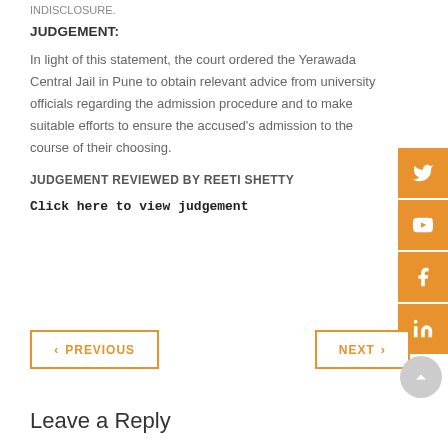INDISCLOSURE.
JUDGEMENT:
In light of this statement, the court ordered the Yerawada Central Jail in Pune to obtain relevant advice from university officials regarding the admission procedure and to make suitable efforts to ensure the accused's admission to the course of their choosing.
JUDGEMENT REVIEWED BY REETI SHETTY
Click here to view judgement
< PREVIOUS
NEXT >
Leave a Reply